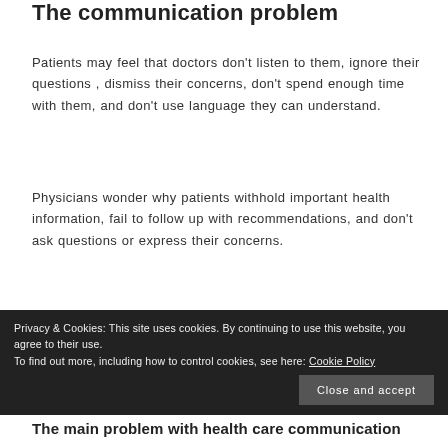The communication problem
Patients may feel that doctors don't listen to them, ignore their questions , dismiss their concerns, don't spend enough time with them, and don't use language they can understand.
Physicians wonder why patients withhold important health information, fail to follow up with recommendations, and don't ask questions or express their concerns.
Privacy & Cookies: This site uses cookies. By continuing to use this website, you agree to their use. To find out more, including how to control cookies, see here: Cookie Policy
The main problem with health care communication